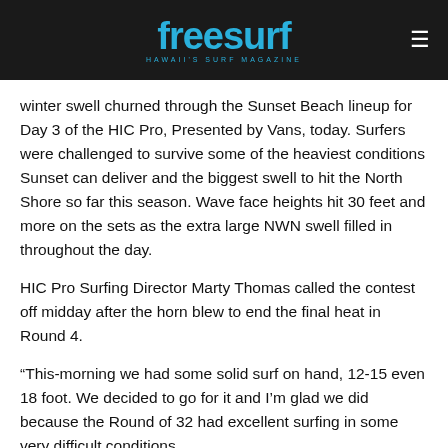[Figure (logo): Freesurf - Hawaii's Surf Magazine logo in blue on dark background header with hamburger menu icon]
winter swell churned through the Sunset Beach lineup for Day 3 of the HIC Pro, Presented by Vans, today. Surfers were challenged to survive some of the heaviest conditions Sunset can deliver and the biggest swell to hit the North Shore so far this season. Wave face heights hit 30 feet and more on the sets as the extra large NWN swell filled in throughout the day.
HIC Pro Surfing Director Marty Thomas called the contest off midday after the horn blew to end the final heat in Round 4.
“This-morning we had some solid surf on hand, 12-15 even 18 foot. We decided to go for it and I’m glad we did because the Round of 32 had excellent surfing in some very difficult conditions.
“After the round of 32, we decided to stop the event. There’s